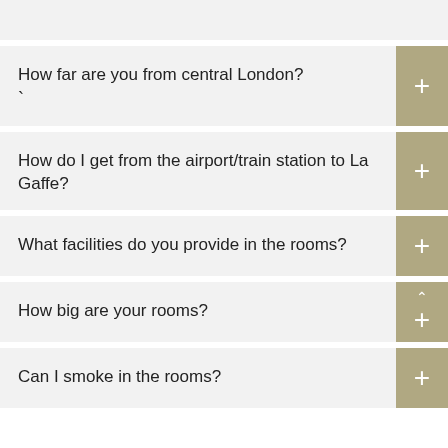How far are you from central London?
How do I get from the airport/train station to La Gaffe?
What facilities do you provide in the rooms?
How big are your rooms?
Can I smoke in the rooms?